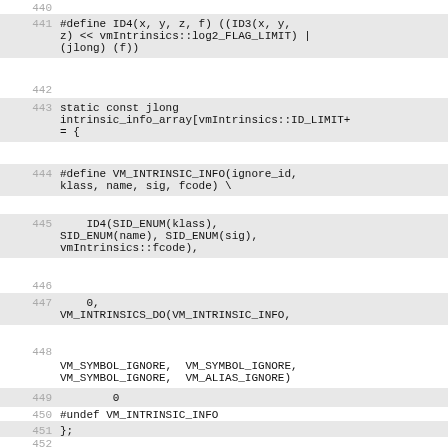440 (empty line)
441 #define ID4(x, y, z, f) ((ID3(x, y, z) << vmIntrinsics::log2_FLAG_LIMIT) | (jlong) (f))
442 (empty line)
443 static const jlong intrinsic_info_array[vmIntrinsics::ID_LIMIT+ = {
444 #define VM_INTRINSIC_INFO(ignore_id, klass, name, sig, fcode) \
445     ID4(SID_ENUM(klass), SID_ENUM(name), SID_ENUM(sig), vmIntrinsics::fcode),
446 (empty line)
447     0, VM_INTRINSICS_DO(VM_INTRINSIC_INFO,
448 (empty line)
VM_SYMBOL_IGNORE,  VM_SYMBOL_IGNORE, VM_SYMBOL_IGNORE,  VM_ALIAS_IGNORE)
449         0
450 #undef VM_INTRINSIC_INFO
451 };
452 (empty line)
453 inline jlong intrinsic_info(vmIntrinsics::ID id) {
454     return
intrinsic_info_array[vmIntrinsics::ID_from(